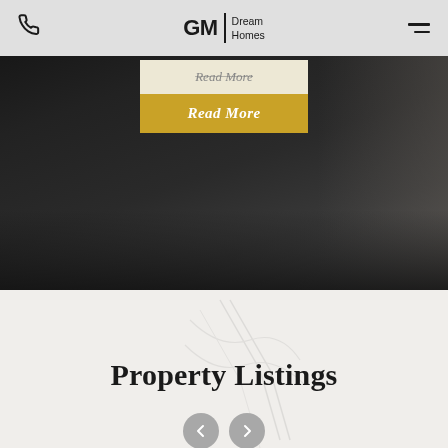GM Dream Homes navigation bar with phone icon and hamburger menu
[Figure (screenshot): Hero dark background section of a real estate website with a 'Read More' button overlay. Top portion shows a dark room/interior photograph.]
Property Listings
[Figure (illustration): Two circular navigation arrow buttons (prev/next) at the bottom of the section, gray colored]